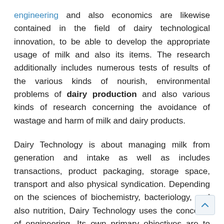engineering and also economics are likewise contained in the field of dairy technological innovation, to be able to develop the appropriate usage of milk and also its items. The research additionally includes numerous tests of results of the various kinds of nourish, environmental problems of dairy production and also various kinds of research concerning the avoidance of wastage and harm of milk and dairy products.
Dairy Technology is about managing milk from generation and intake as well as includes transactions, product packaging, storage space, transport and also physical syndication. Depending on the sciences of biochemistry, bacteriology, and also nutrition, Dairy Technology uses the concepts of engineering. Its own primary objectives are to reduce spoilage, improve high quality, and increase shelf-life, thereby making milk edible and also safe for human be consumption.